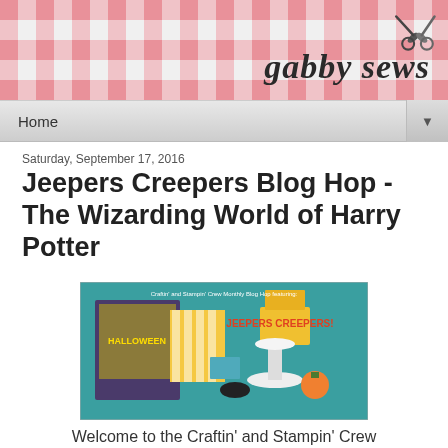gabby sews
Home
Saturday, September 17, 2016
Jeepers Creepers Blog Hop - The Wizarding World of Harry Potter
[Figure (photo): Craftin and Stampin Crew Monthly Blog Hop featuring JEEPERS CREEPERS promotional banner with Halloween craft projects including cards, treat containers, and candy displays on a teal background]
Welcome to the Craftin' and Stampin' Crew